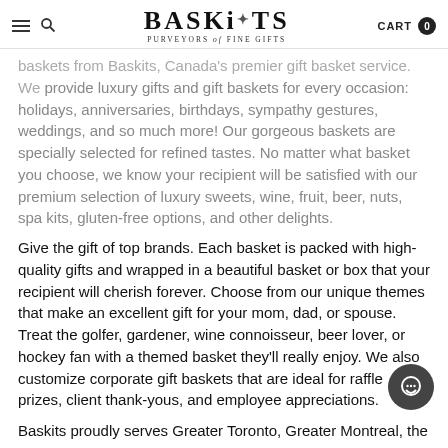BASKiTS — PURVEYORS of FINE GIFTS — CART 0
baskets from Baskits, Canada's premier gift basket service. We provide luxury gifts and gift baskets for every occasion: holidays, anniversaries, birthdays, sympathy gestures, weddings, and so much more! Our gorgeous baskets are specially selected for refined tastes. No matter what basket you choose, we know your recipient will be satisfied with our premium selection of luxury sweets, wine, fruit, beer, nuts, spa kits, gluten-free options, and other delights.
Give the gift of top brands. Each basket is packed with high-quality gifts and wrapped in a beautiful basket or box that your recipient will cherish forever. Choose from our unique themes that make an excellent gift for your mom, dad, or spouse. Treat the golfer, gardener, wine connoisseur, beer lover, or hockey fan with a themed basket they'll really enjoy. We also customize corporate gift baskets that are ideal for raffle prizes, client thank-yous, and employee appreciations.
Baskits proudly serves Greater Toronto, Greater Montreal, the